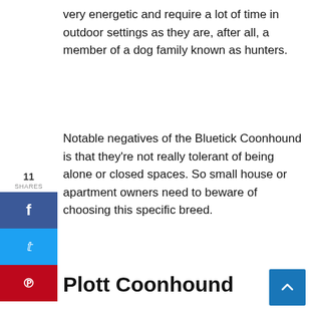very energetic and require a lot of time in outdoor settings as they are, after all, a member of a dog family known as hunters.
Notable negatives of the Bluetick Coonhound is that they're not really tolerant of being alone or closed spaces. So small house or apartment owners need to beware of choosing this specific breed.
Plott Coonhound
Average weight: 45-60 pounds.
Height: 20-25 inches(male), 20-23 inches(female).
Life expectancy: 12-14 years old.